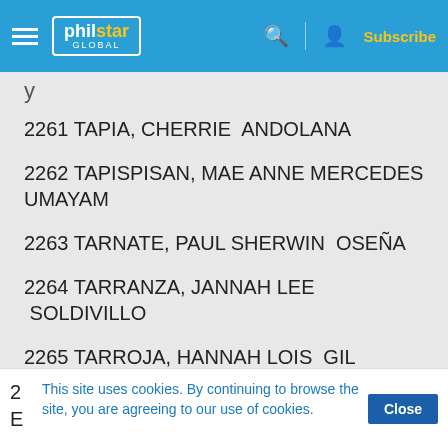philstar GLOBAL — Subscribe
2261 TAPIA, CHERRIE  ANDOLANA
2262 TAPISPISAN, MAE ANNE MERCEDES UMAYAM
2263 TARNATE, PAUL SHERWIN  OSEÑA
2264 TARRANZA, JANNAH LEE  SOLDIVILLO
2265 TARROJA, HANNAH LOIS  GIL
This site uses cookies. By continuing to browse the site, you are agreeing to our use of cookies.